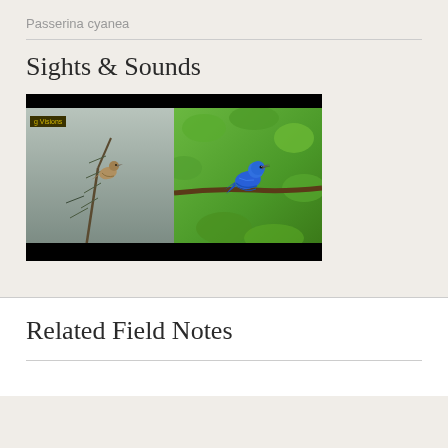Passerina cyanea
Sights & Sounds
[Figure (photo): Video thumbnail showing two Indigo Buntings — a female (brown) perched on a pine branch on the left panel against a grey background, and a male (brilliant blue) perched on a leafy branch on the right panel against a green background. A label reading 'g Visions' appears in the upper left corner on a dark background.]
Related Field Notes